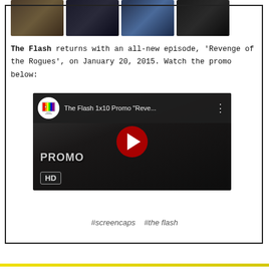[Figure (screenshot): Four small thumbnail images of people from a TV show, displayed in a row at the top.]
The Flash returns with an all-new episode, 'Revenge of the Rogues', on January 20, 2015. Watch the promo below:
[Figure (screenshot): YouTube video embed thumbnail showing 'The Flash 1x10 Promo "Reve..."' with a play button, PROMO text, and HD badge. Shows a dark silhouette figure.]
#screencaps   #the flash